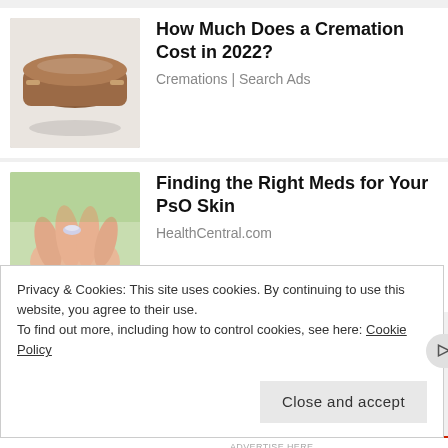[Figure (photo): Image of a brown wooden coffin on a light background]
How Much Does a Cremation Cost in 2022?
Cremations | Search Ads
[Figure (photo): Close-up image of a hand holding a small pill or capsule, with a green outdoor background]
Finding the Right Meds for Your PsO Skin
HealthCentral.com
Privacy & Cookies: This site uses cookies. By continuing to use this website, you agree to their use.
To find out more, including how to control cookies, see here: Cookie Policy
Close and accept